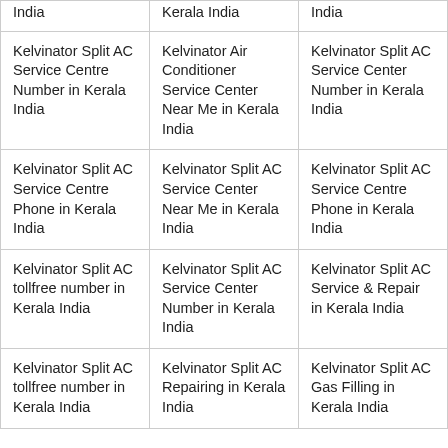| India | Kerala India | India |
| Kelvinator Split AC Service Centre Number in Kerala India | Kelvinator Air Conditioner Service Center Near Me in Kerala India | Kelvinator Split AC Service Center Number in Kerala India |
| Kelvinator Split AC Service Centre Phone in Kerala India | Kelvinator Split AC Service Center Near Me in Kerala India | Kelvinator Split AC Service Centre Phone in Kerala India |
| Kelvinator Split AC tollfree number in Kerala India | Kelvinator Split AC Service Center Number in Kerala India | Kelvinator Split AC Service & Repair in Kerala India |
| Kelvinator Split AC tollfree number in Kerala India | Kelvinator Split AC Repairing in Kerala India | Kelvinator Split AC Gas Filling in Kerala India |